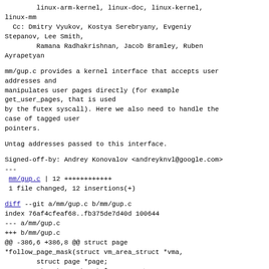linux-arm-kernel, linux-doc, linux-kernel,
linux-mm
  Cc: Dmitry Vyukov, Kostya Serebryany, Evgeniy
Stepanov, Lee Smith,
        Ramana Radhakrishnan, Jacob Bramley, Ruben
Ayrapetyan
mm/gup.c provides a kernel interface that accepts user addresses and
manipulates user pages directly (for example get_user_pages, that is used
by the futex syscall). Here we also need to handle the case of tagged user
pointers.
Untag addresses passed to this interface.
Signed-off-by: Andrey Konovalov <andreyknvl@google.com>
---
 mm/gup.c | 12 ++++++++++++
 1 file changed, 12 insertions(+)
diff --git a/mm/gup.c b/mm/gup.c
index 76af4cfeaf68..fb375de7d40d 100644
--- a/mm/gup.c
+++ b/mm/gup.c
@@ -386,6 +386,8 @@ struct page
*follow_page_mask(struct vm_area_struct *vma,
        struct page *page;
        struct mm_struct *mm = vma->vm_mm;